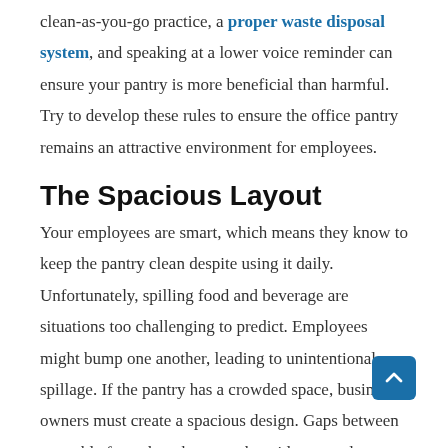clean-as-you-go practice, a proper waste disposal system, and speaking at a lower voice reminder can ensure your pantry is more beneficial than harmful. Try to develop these rules to ensure the office pantry remains an attractive environment for employees.
The Spacious Layout
Your employees are smart, which means they know to keep the pantry clean despite using it daily. Unfortunately, spilling food and beverage are situations too challenging to predict. Employees might bump one another, leading to unintentional spillage. If the pantry has a crowded space, business owners must create a spacious design. Gaps between one table from the other must be wide enough let several people pass by with ease. The spacious layout